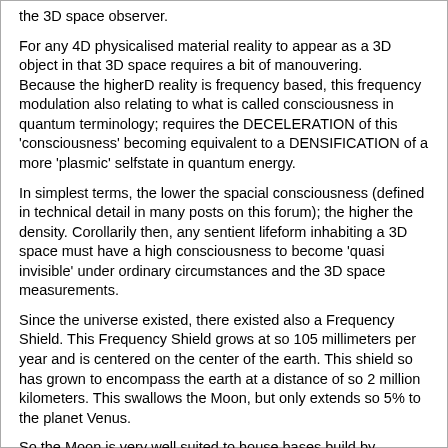the 3D space observer.
For any 4D physicalised material reality to appear as a 3D object in that 3D space requires a bit of manouvering.
Because the higherD reality is frequency based, this frequency modulation also relating to what is called consciousness in quantum terminology; requires the DECELERATION of this 'consciousness' becoming equivalent to a DENSIFICATION of a more 'plasmic' selfstate in quantum energy.
In simplest terms, the lower the spacial consciousness (defined in technical detail in many posts on this forum); the higher the density. Corollarily then, any sentient lifeform inhabiting a 3D space must have a high consciousness to become 'quasi invisible' under ordinary circumstances and the 3D space measurements.
Since the universe existed, there existed also a Frequency Shield. This Frequency Shield grows at so 105 millimeters per year and is centered on the center of the earth. This shield so has grown to encompass the earth at a distance of so 2 million kilometers. This swallows the Moon, but only extends so 5% to the planet Venus.
So the Moon is very well suited to house bases build by 'higherD plasma physics' which then allows densification within the resistance field.
So apart from the earth itself, only the moon will exhibit direct physical evidence of the ET presence in terms of technology and structure.
Then the constructs on the other planets will allow partial manifestation (like Rendlesham), where the nature of the 'structures'